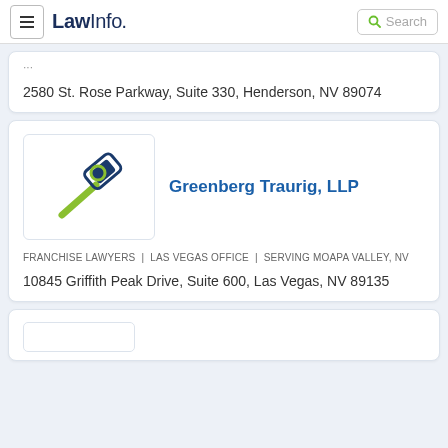LawInfo. Search
...
2580 St. Rose Parkway, Suite 330, Henderson, NV 89074
[Figure (logo): LawInfo gavel/hammer icon logo for law firm listing]
Greenberg Traurig, LLP
FRANCHISE LAWYERS  |  LAS VEGAS OFFICE  |  SERVING MOAPA VALLEY, NV
10845 Griffith Peak Drive, Suite 600, Las Vegas, NV 89135